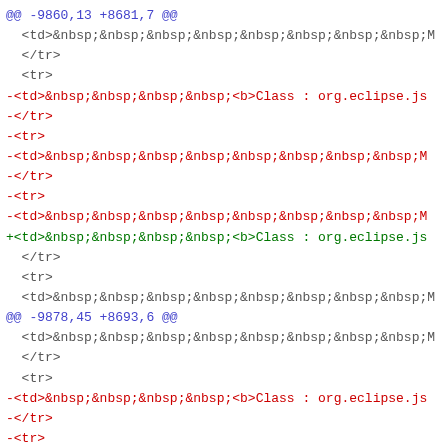@@ -9860,13 +8681,7 @@
  <td>&nbsp;&nbsp;&nbsp;&nbsp;&nbsp;&nbsp;&nbsp;&nbsp;M
  </tr>
  <tr>
-<td>&nbsp;&nbsp;&nbsp;&nbsp;<b>Class : org.eclipse.js
-</tr>
-<tr>
-<td>&nbsp;&nbsp;&nbsp;&nbsp;&nbsp;&nbsp;&nbsp;&nbsp;M
-</tr>
-<tr>
-<td>&nbsp;&nbsp;&nbsp;&nbsp;&nbsp;&nbsp;&nbsp;&nbsp;M
+<td>&nbsp;&nbsp;&nbsp;&nbsp;<b>Class : org.eclipse.js
  </tr>
  <tr>
  <td>&nbsp;&nbsp;&nbsp;&nbsp;&nbsp;&nbsp;&nbsp;&nbsp;M
@@ -9878,45 +8693,6 @@
  <td>&nbsp;&nbsp;&nbsp;&nbsp;&nbsp;&nbsp;&nbsp;&nbsp;M
  </tr>
  <tr>
-<td>&nbsp;&nbsp;&nbsp;&nbsp;<b>Class : org.eclipse.js
-</tr>
-<tr>